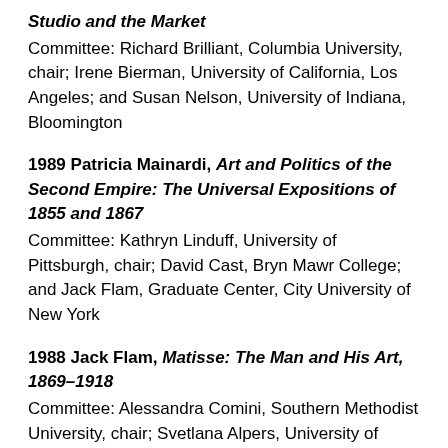Studio and the Market
Committee: Richard Brilliant, Columbia University, chair; Irene Bierman, University of California, Los Angeles; and Susan Nelson, University of Indiana, Bloomington
1989 Patricia Mainardi, Art and Politics of the Second Empire: The Universal Expositions of 1855 and 1867
Committee: Kathryn Linduff, University of Pittsburgh, chair; David Cast, Bryn Mawr College; and Jack Flam, Graduate Center, City University of New York
1988 Jack Flam, Matisse: The Man and His Art, 1869–1918
Committee: Alessandra Comini, Southern Methodist University, chair; Svetlana Alpers, University of California, Berkeley; and Charles Parkhurst, Williams College